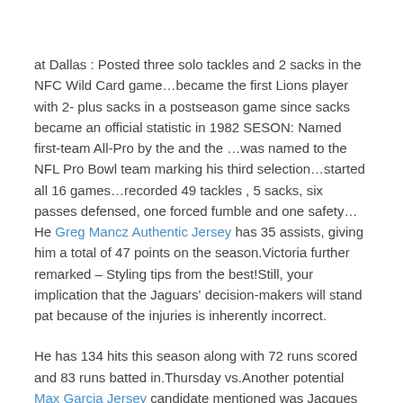at Dallas : Posted three solo tackles and 2 sacks in the NFC Wild Card game…became the first Lions player with 2- plus sacks in a postseason game since sacks became an official statistic in 1982 SESON: Named first-team All-Pro by the and the …was named to the NFL Pro Bowl team marking his third selection…started all 16 games…recorded 49 tackles , 5 sacks, six passes defensed, one forced fumble and one safety…He Greg Mancz Authentic Jersey has 35 assists, giving him a total of 47 points on the season.Victoria further remarked – Styling tips from the best!Still, your implication that the Jaguars' decision-makers will stand pat because of the injuries is inherently incorrect.
He has 134 hits this season along with 72 runs scored and 83 runs batted in.Thursday vs.Another potential Max Garcia Jersey candidate mentioned was Jacques Lemaire.He's allowing 9 hits per nine innings and his FIP stands at 3.They have a record in their last 10 games, including a few blowouts in that span.
But there at bl...